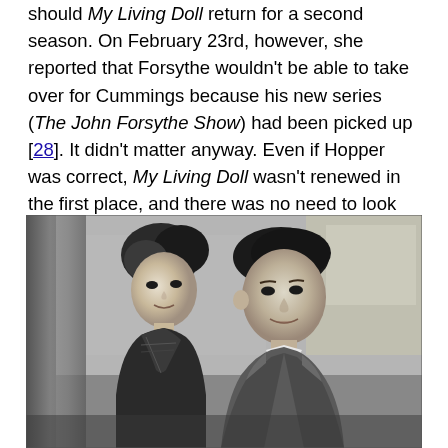should My Living Doll return for a second season. On February 23rd, however, she reported that Forsythe wouldn't be able to take over for Cummings because his new series (The John Forsythe Show) had been picked up [28]. It didn't matter anyway. Even if Hopper was correct, My Living Doll wasn't renewed in the first place, and there was no need to look for a replacement.
[Figure (photo): Black and white photo of a woman with an updo hairstyle wearing a plaid top, and a man in a suit and tie, both looking slightly to the right. Appears to be a still from a 1960s television show.]